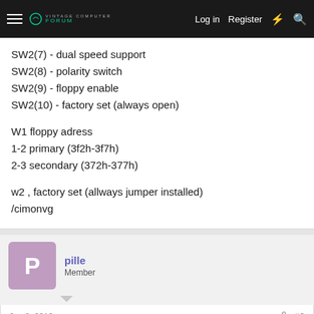Log in  Register
SW2(7) - dual speed support
SW2(8) - polarity switch
SW2(9) - floppy enable
SW2(10) - factory set (always open)
W1 floppy adress
1-2 primary (3f2h-3f7h)
2-3 secondary (372h-377h)
w2 , factory set (allways jumper installed)
/cimonvg
pille
Member
Jun 8, 2016
#8
So I decided to use the 3150 on the Peaktron board and the IDE-8 in the PC10. Now I have a confusing problem. As soon